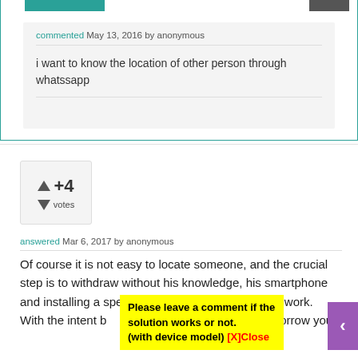commented May 13, 2016 by anonymous
i want to know the location of other person through whatssapp
[Figure (other): Vote widget showing +4 votes with up and down arrows]
answered Mar 6, 2017 by anonymous
Of course it is not easy to locate someone, and the crucial step is to withdraw without his knowledge, his smartphone and installing a specific app that will do the "dirty" work.
With the intent b...ty of your position, you mu...borrow your
Please leave a comment if the solution works or not. (with device model) [X]Close